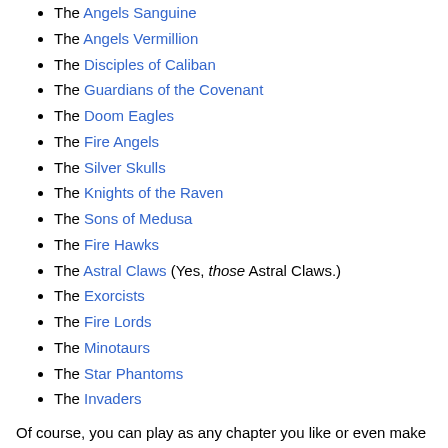The Angels Sanguine
The Angels Vermillion
The Disciples of Caliban
The Guardians of the Covenant
The Doom Eagles
The Fire Angels
The Silver Skulls
The Knights of the Raven
The Sons of Medusa
The Fire Hawks
The Astral Claws (Yes, those Astral Claws.)
The Exorcists
The Fire Lords
The Minotaurs
The Star Phantoms
The Invaders
Of course, you can play as any chapter you like or even make your own, thanks to the Space Marine Chapter Creation Tables from Rites of Battle.